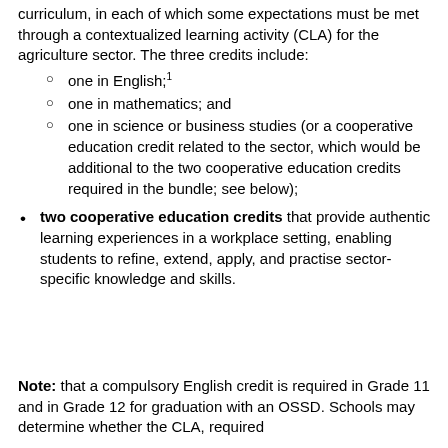curriculum, in each of which some expectations must be met through a contextualized learning activity (CLA) for the agriculture sector. The three credits include:
one in English;¹
one in mathematics; and
one in science or business studies (or a cooperative education credit related to the sector, which would be additional to the two cooperative education credits required in the bundle; see below);
two cooperative education credits that provide authentic learning experiences in a workplace setting, enabling students to refine, extend, apply, and practise sector-specific knowledge and skills.
Note: that a compulsory English credit is required in Grade 11 and in Grade 12 for graduation with an OSSD. Schools may determine whether the CLA, required